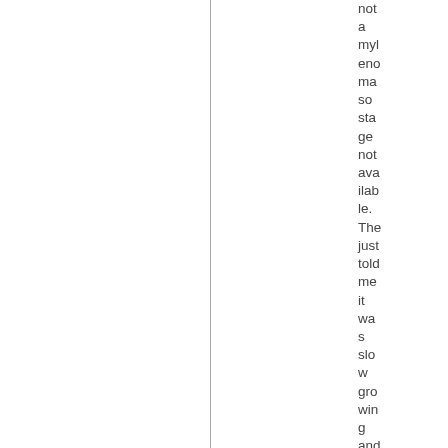not a myelenoma so stage not available. The just told me it was slow growing and not in lymph nodes. Came